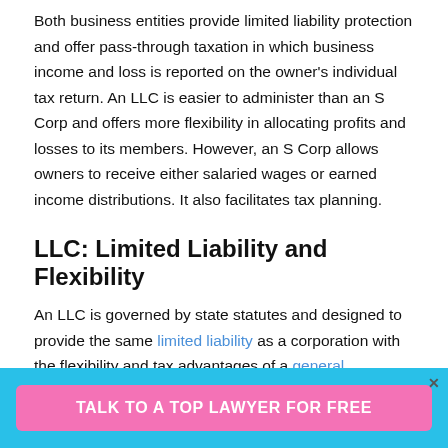Both business entities provide limited liability protection and offer pass-through taxation in which business income and loss is reported on the owner's individual tax return. An LLC is easier to administer than an S Corp and offers more flexibility in allocating profits and losses to its members. However, an S Corp allows owners to receive either salaried wages or earned income distributions. It also facilitates tax planning.
LLC: Limited Liability and Flexibility
An LLC is governed by state statutes and designed to provide the same limited liability as a corporation with the flexibility and tax advantages of a general
TALK TO A TOP LAWYER FOR FREE